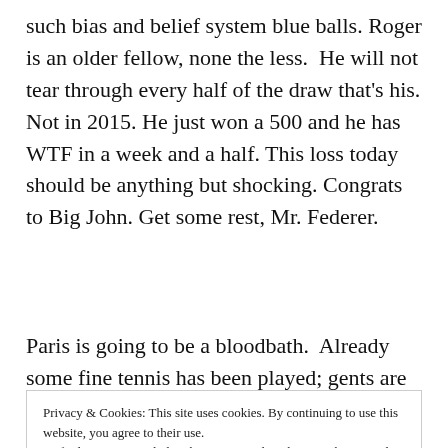such bias and belief system blue balls. Roger is an older fellow, none the less. He will not tear through every half of the draw that's his. Not in 2015. He just won a 500 and he has WTF in a week and a half. This loss today should be anything but shocking. Congrats to Big John. Get some rest, Mr. Federer.
Paris is going to be a bloodbath. Already some fine tennis has been played; gents are reaching
Privacy & Cookies: This site uses cookies. By continuing to use this website, you agree to their use.
To find out more, including how to control cookies, see here: Cookie Policy
Close and accept
Djokovic is charging, obviously. He has Berdych